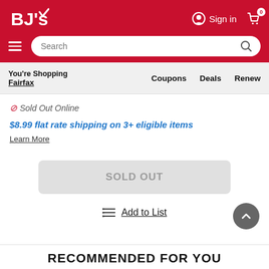[Figure (screenshot): BJ's Wholesale Club website header with red background, BJ's logo, Sign in button, cart icon with 0 badge, hamburger menu, and search bar]
You're Shopping Fairfax
Coupons  Deals  Renew
Sold Out Online
$8.99 flat rate shipping on 3+ eligible items
Learn More
SOLD OUT
Add to List
RECOMMENDED FOR YOU